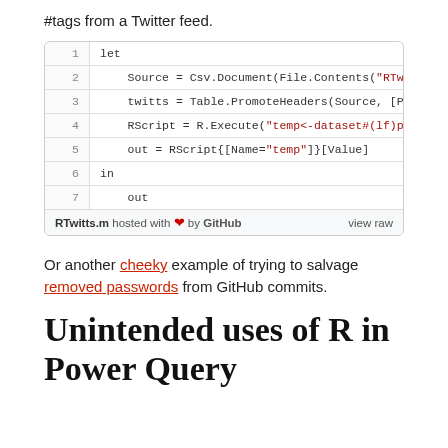#tags from a Twitter feed.
[Figure (screenshot): Code block showing Power Query M code with line numbers 1-7. Line 1: let, Line 2: Source = Csv.Document(File.Contents("RTwitterSa..., Line 3: twitts = Table.PromoteHeaders(Source, [Promote..., Line 4: RScript = R.Execute("temp<-dataset#(lf)pattern..., Line 5: out = RScript{[Name="temp"]}[Value], Line 6: in, Line 7: out. Footer shows 'RTwitts.m hosted with ❤ by GitHub' and 'view raw'.]
Or another cheeky example of trying to salvage removed passwords from GitHub commits.
Unintended uses of R in Power Query